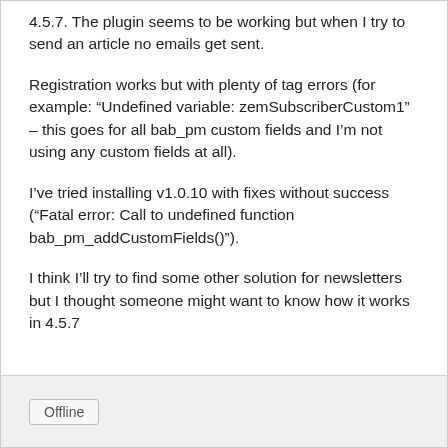4.5.7. The plugin seems to be working but when I try to send an article no emails get sent.
Registration works but with plenty of tag errors (for example: “Undefined variable: zemSubscriberCustom1” – this goes for all bab_pm custom fields and I’m not using any custom fields at all).
I’ve tried installing v1.0.10 with fixes without success (“Fatal error: Call to undefined function bab_pm_addCustomFields()”).
I think I’ll try to find some other solution for newsletters but I thought someone might want to know how it works in 4.5.7
Offline